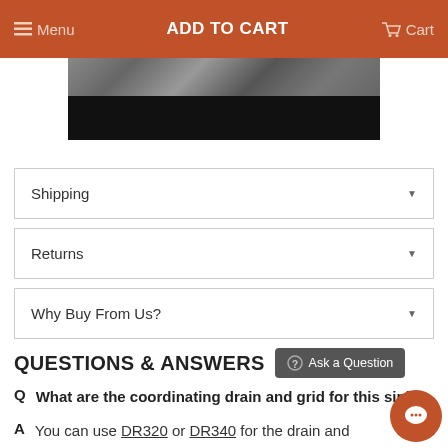Menu  ADD TO CART  Cart
[Figure (photo): Partial product image showing a stone or dark textured surface against black background]
Shipping ▼
Returns ▼
Why Buy From Us? ▼
QUESTIONS & ANSWERS
Q  What are the coordinating drain and grid for this sink?
A  You can use DR320 or DR340 for the drain and GR2614 for the grid.